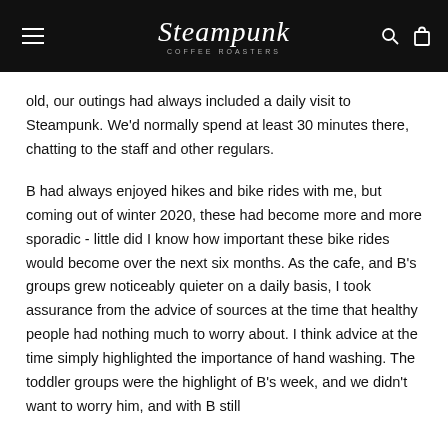Steampunk Coffee Roasters
old, our outings had always included a daily visit to Steampunk. We'd normally spend at least 30 minutes there, chatting to the staff and other regulars.
B had always enjoyed hikes and bike rides with me, but coming out of winter 2020, these had become more and more sporadic - little did I know how important these bike rides would become over the next six months. As the cafe, and B's groups grew noticeably quieter on a daily basis, I took assurance from the advice of sources at the time that healthy people had nothing much to worry about. I think advice at the time simply highlighted the importance of hand washing. The toddler groups were the highlight of B's week, and we didn't want to worry him, and with B still